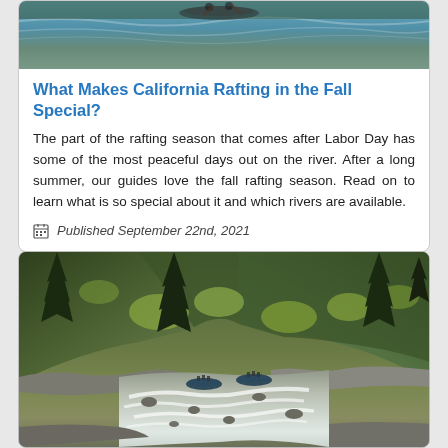[Figure (photo): Top portion of a river rafting photo showing water with rafters, partially cut off at top of card]
What Makes California Rafting in the Fall Special?
The part of the rafting season that comes after Labor Day has some of the most peaceful days out on the river. After a long summer, our guides love the fall rafting season. Read on to learn what is so special about it and which rivers are available.
Published September 22nd, 2021
[Figure (photo): Scenic river rafting photo showing a wide forested river gorge with green tree-covered hillsides, a rushing river with white water rapids, rocks, and small rafts with people visible in the middle distance]